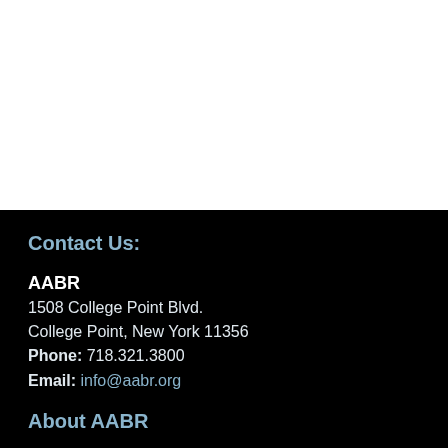Contact Us:
AABR
1508 College Point Blvd.
College Point, New York 11356
Phone: 718.321.3800
Email: info@aabr.org
About AABR